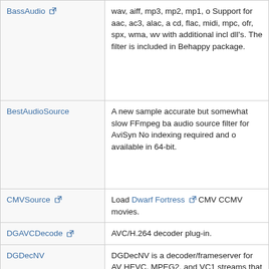| Plugin | Description |
| --- | --- |
| BassAudio | wav, aiff, mp3, mp2, mp1, o
Support for aac, ac3, alac, a
cd, flac, midi, mpc, ofr, spx,
wma, wv with additional incl
dll's. The filter is included in
Behappy package. |
| BestAudioSource | A new sample accurate but
somewhat slow FFmpeg ba
audio source filter for AviSyn
No indexing required and o
available in 64-bit. |
| CMVSource | Load Dwarf Fortress CMV
CCMV movies. |
| DGAVCDecode | AVC/H.264 decoder plug-in. |
| DGDecNV | DGDecNV is a
decoder/frameserver for AV
HEVC, MPEG2, and VC1
streams that runs on the GP
Nvidia graphics cards that
support CUDA video decodi |
|  | Decode MPEG1/MPEG2 str
from: DVD VOBs, captured |